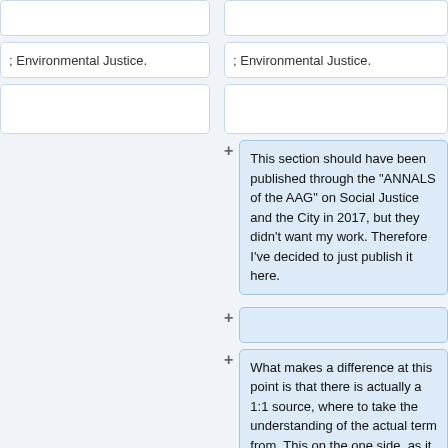; Environmental Justice.
; Environmental Justice.
This section should have been published through the "ANNALS of the AAG" on Social Justice and the City in 2017, but they didn't want my work. Therefore I've decided to just publish it here.
What makes a difference at this point is that there is actually a 1:1 source, where to take the understanding of the actual term from. This on the one side, as it needs to be translated and fixed in formulation and on the other